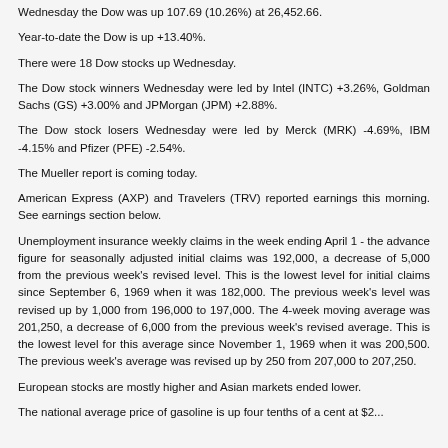Wednesday the Dow was up 107.69 (10.26%) at 26,452.66.
Year-to-date the Dow is up +13.40%.
There were 18 Dow stocks up Wednesday.
The Dow stock winners Wednesday were led by Intel (INTC) +3.26%, Goldman Sachs (GS) +3.00% and JPMorgan (JPM) +2.88%.
The Dow stock losers Wednesday were led by Merck (MRK) -4.69%, IBM -4.15% and Pfizer (PFE) -2.54%.
The Mueller report is coming today.
American Express (AXP) and Travelers (TRV) reported earnings this morning. See earnings section below.
Unemployment insurance weekly claims in the week ending April 1 - the advance figure for seasonally adjusted initial claims was 192,000, a decrease of 5,000 from the previous week's revised level. This is the lowest level for initial claims since September 6, 1969 when it was 182,000. The previous week's level was revised up by 1,000 from 196,000 to 197,000. The 4-week moving average was 201,250, a decrease of 6,000 from the previous week's revised average. This is the lowest level for this average since November 1, 1969 when it was 200,500. The previous week's average was revised up by 250 from 207,000 to 207,250.
European stocks are mostly higher and Asian markets ended lower.
The national average price of gasoline is up four tenths of a cent at $2...